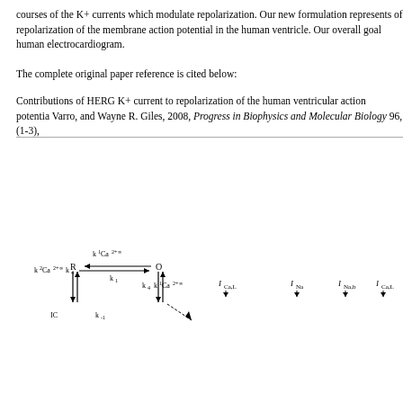courses of the K+ currents which modulate repolarization. Our new formulation represents of repolarization of the membrane action potential in the human ventricle. Our overall goal human electrocardiogram.
The complete original paper reference is cited below:
Contributions of HERG K+ current to repolarization of the human ventricular action potential. Varro, and Wayne R. Giles, 2008, Progress in Biophysics and Molecular Biology 96, (1-3),
[Figure (schematic): Kinetic state diagram showing transitions between states R and O with rate constants k1Ca2+_oo, k1, k2Ca2+_oo, k4, k4, k1Ca2+_oo, and arrows indicating state transitions. Also shows channel current labels: I_Ca,L, I_Na, I_Na,b, I_Ca,L]